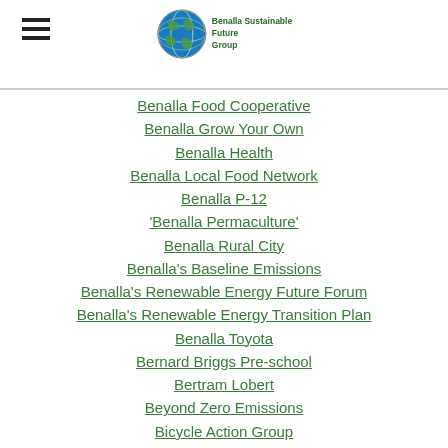Benalla Sustainable Future Group logo and navigation menu
Benalla Food Cooperative
Benalla Grow Your Own
Benalla Health
Benalla Local Food Network
Benalla P-12
'Benalla Permaculture'
Benalla Rural City
Benalla's Baseline Emissions
Benalla's Renewable Energy Future Forum
Benalla's Renewable Energy Transition Plan
Benalla Toyota
Bernard Briggs Pre-school
Bertram Lobert
Beyond Zero Emissions
Bicycle Action Group
Big Weather
Biodiversity
Bob Brown Foundation
BPACC
BRCC Waste Services
BSFG Action Groups
BSFG Committee
BSFG General Meeting